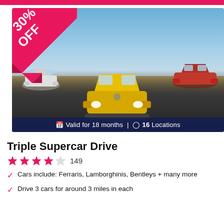[Figure (photo): Three supercars racing on a track: yellow Lamborghini in center front, white Audi on left, red Ferrari on right. A 30% OFF ribbon banner overlaid on top-left corner. Blue sky background.]
Valid for 18 months | 16 Locations
Triple Supercar Drive
★★★★☆ 149
Cars include: Ferraris, Lamborghinis, Bentleys + many more
Drive 3 cars for around 3 miles in each